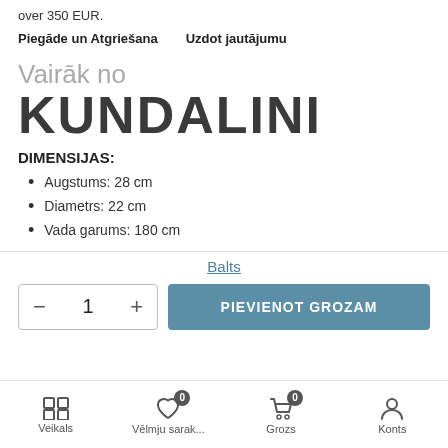over 350 EUR.
Piegāde un Atgriešana    Uzdot jautājumu
Vairāk no KUNDALINI
DIMENSIJAS:
Augstums: 28 cm
Diametrs: 22 cm
Vada garums: 180 cm
Balts
– 1 +   PIEVIENOT GROZAM
Veikals   Vēlmju sarak...   Grozs   Konts